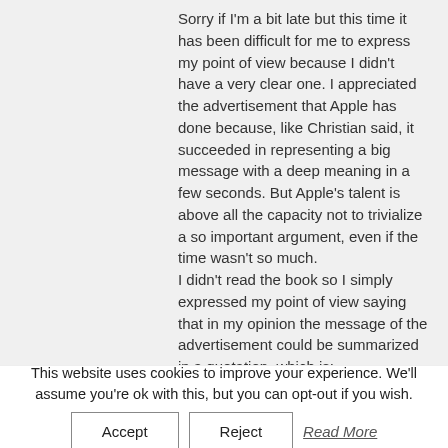Sorry if I'm a bit late but this time it has been difficult for me to express my point of view because I didn't have a very clear one. I appreciated the advertisement that Apple has done because, like Christian said, it succeeded in representing a big message with a deep meaning in a few seconds. But Apple's talent is above all the capacity not to trivialize a so important argument, even if the time wasn't so much. I didn't read the book so I simply expressed my point of view saying that in my opinion the message of the advertisement could be summarized in a quotation, which is: "-É GRAVE ESSERE DIVERSI? -É GRAVE SFORZARSI DI ESSERE UGUALI: PROVOCA NERVOSI, PSICOSI E PARANOIE" (Paulo
This website uses cookies to improve your experience. We'll assume you're ok with this, but you can opt-out if you wish.